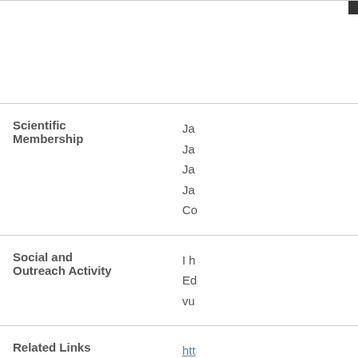| Category | Details |
| --- | --- |
| Scientific Membership | Ja
Ja
Ja
Ja
Co |
| Social and Outreach Activity | I h
Ed
vu |
| Related Links | htt
htt |